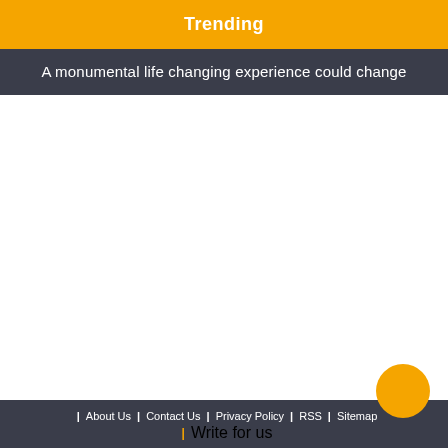Trending
A monumental life changing experience could change
| About Us | Contact Us | Privacy Policy | RSS | Sitemap | Write for us